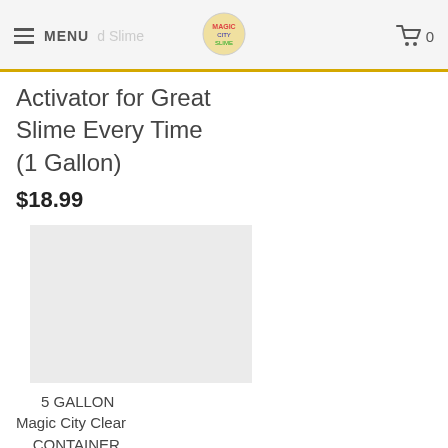MENU d Slime | [logo] | Cart 0
Activator for Great Slime Every Time (1 Gallon)
$18.99
[Figure (photo): Product image placeholder — light grey rectangle]
5 GALLON Magic City Clear CONTAINER, Slime Glue, Specifically LIMITED EDITION Formulated for 5 GALLON Slime CONTAINER, Specifically